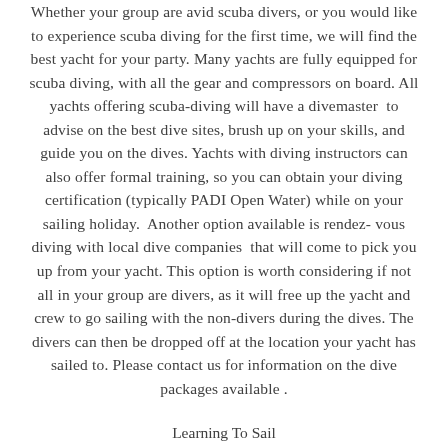Whether your group are avid scuba divers, or you would like to experience scuba diving for the first time, we will find the best yacht for your party. Many yachts are fully equipped for scuba diving, with all the gear and compressors on board. All yachts offering scuba-diving will have a divemaster to advise on the best dive sites, brush up on your skills, and guide you on the dives. Yachts with diving instructors can also offer formal training, so you can obtain your diving certification (typically PADI Open Water) while on your sailing holiday. Another option available is rendez-vous diving with local dive companies that will come to pick you up from your yacht. This option is worth considering if not all in your group are divers, as it will free up the yacht and crew to go sailing with the non-divers during the dives. The divers can then be dropped off at the location your yacht has sailed to. Please contact us for information on the dive packages available .
Learning To Sail